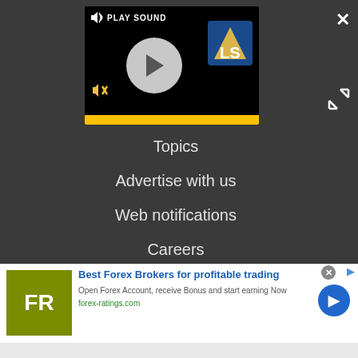[Figure (screenshot): Video player with play button, sound control, LS logo, and yellow progress bar. Shows 'PLAY SOUND' text and speaker icons.]
Topics
Advertise with us
Web notifications
Careers
Do not sell my info
[Figure (advertisement): Best Forex Brokers ad. FR logo in olive green. Title: Best Forex Brokers for profitable trading. Description: Open Forex Account, receive Bonus and start earning Now. URL: forex-ratings.com. Blue circular CTA button with arrow.]